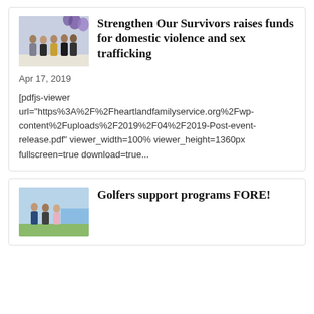[Figure (photo): Group photo of people standing in front of purple balloons at an event]
Strengthen Our Survivors raises funds for domestic violence and sex trafficking
Apr 17, 2019
[pdfjs-viewer url="https%3A%2F%2Fheartlandfamilyservice.org%2Fwp-content%2Fuploads%2F2019%2F04%2F2019-Post-event-release.pdf" viewer_width=100% viewer_height=1360px fullscreen=true download=true...
[Figure (photo): Group photo of three people outdoors, possibly at a golf event]
Golfers support programs FORE!